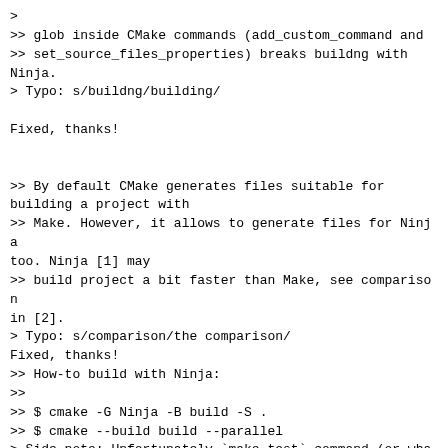>
>> glob inside CMake commands (add_custom_command and
>> set_source_files_properties) breaks buildng with
Ninja.
> Typo: s/buildng/building/

Fixed, thanks!


>> By default CMake generates files suitable for
building a project with
>> Make. However, it allows to generate files for Ninja
too. Ninja [1] may
>> build project a bit faster than Make, see comparison
in [2].
> Typo: s/comparison/the comparison/
Fixed, thanks!
>> How-to build with Ninja:
>>
>> $ cmake -G Ninja -B build -S .
>> $ cmake --build build --parallel
> Side note: Unfortunately `make test` command (or what
should I use for
> tests, when build with ninja?)

Use 'ninja' instead:

sergeyb@pony:~/sources/MRG/tarantool/third_party/luajit$
cmake -G Ninja
-B . -S .